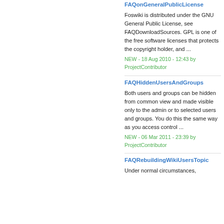FAQonGeneralPublicLicense
Foswiki is distributed under the GNU General Public License, see FAQDownloadSources. GPL is one of the free software licenses that protects the copyright holder, and ...
NEW - 18 Aug 2010 - 12:43 by ProjectContributor
FAQHiddenUsersAndGroups
Both users and groups can be hidden from common view and made visible only to the admin or to selected users and groups. You do this the same way as you access control ...
NEW - 06 Mar 2011 - 23:39 by ProjectContributor
FAQRebuildingWikiUsersTopic
Under normal circumstances,